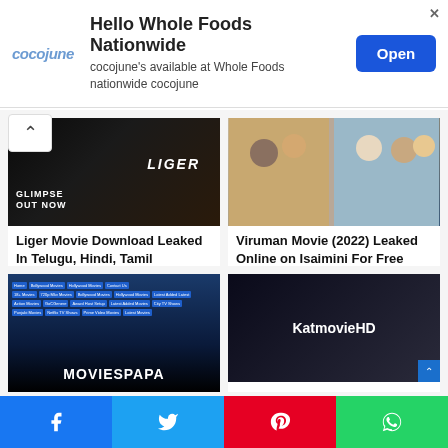[Figure (screenshot): Advertisement banner for cocojune at Whole Foods Nationwide with Open button]
[Figure (photo): Liger movie promotional image - Glimpse Out Now]
Liger Movie Download Leaked In Telugu, Hindi, Tamil
August 25, 2022
[Figure (photo): Viruman Movie group photo promotional image]
Viruman Movie (2022) Leaked Online on Isaimini For Free Download
August 12, 2022
[Figure (screenshot): MoviesPapa website screenshot]
[Figure (screenshot): KatmovieHD website screenshot]